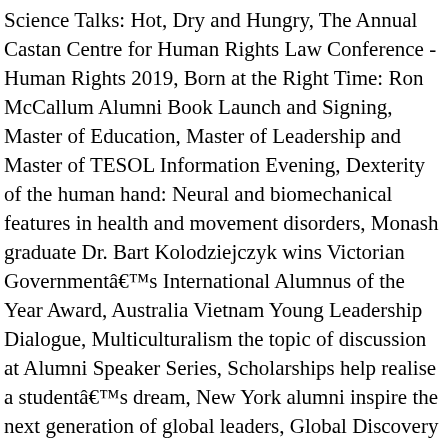Science Talks: Hot, Dry and Hungry, The Annual Castan Centre for Human Rights Law Conference - Human Rights 2019, Born at the Right Time: Ron McCallum Alumni Book Launch and Signing, Master of Education, Master of Leadership and Master of TESOL Information Evening, Dexterity of the human hand: Neural and biomechanical features in health and movement disorders, Monash graduate Dr. Bart Kolodziejczyk wins Victorian Governmentâ€™s International Alumnus of the Year Award, Australia Vietnam Young Leadership Dialogue, Multiculturalism the topic of discussion at Alumni Speaker Series, Scholarships help realise a studentâ€™s dream, New York alumni inspire the next generation of global leaders, Global Discovery Program NY 2017 scholars, Monash brings Austen to life for Rare Book Week. If you are interested in studying the Master Of Architecture then contact Monash ... We believe great research, properly applied can lead to lasting and positive change in people’ s lives. ",